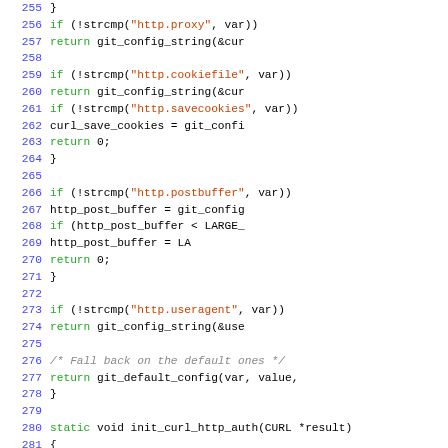[Figure (screenshot): Source code listing (C language) with syntax highlighting. Line numbers 255-284 visible. Blue line numbers, green keywords, red string literals, black identifiers and punctuation, grey italic comments.]